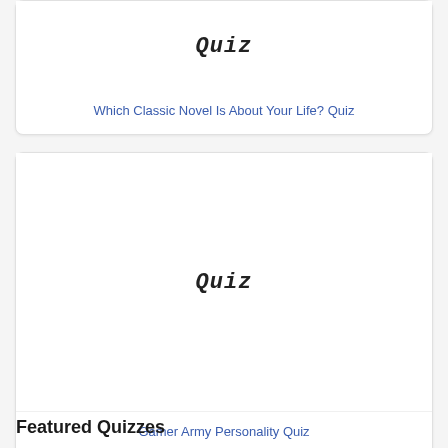[Figure (illustration): Quiz card image placeholder with 'Quiz' text in handwritten style font]
Which Classic Novel Is About Your Life? Quiz
[Figure (illustration): Quiz card image placeholder with 'Quiz' text in handwritten style font]
Gamer Army Personality Quiz
Featured Quizzes